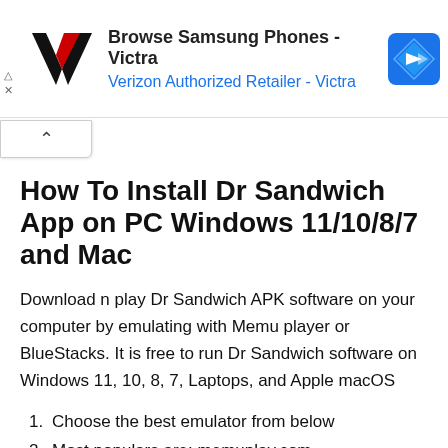[Figure (screenshot): Advertisement banner for Victra (Verizon Authorized Retailer) showing Browse Samsung Phones - Victra with logo and navigation icon]
How To Install Dr Sandwich App on PC Windows 11/10/8/7 and Mac
Download n play Dr Sandwich APK software on your computer by emulating with Memu player or BlueStacks. It is free to run Dr Sandwich software on Windows 11, 10, 8, 7, Laptops, and Apple macOS
1. Choose the best emulator from below
2. Most populars are: memuplay.com, bluestacks.com.
3. Open it to make an Android environment on the PC
4. Dr Sandwich app downloadable Google Play Store